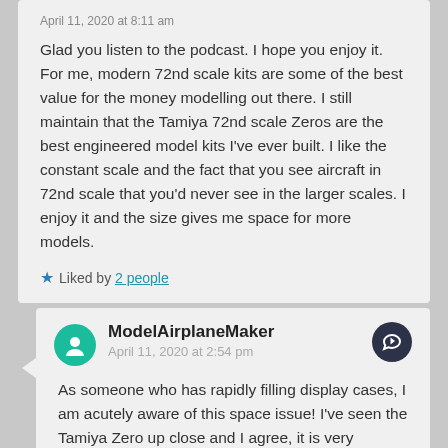April 11, 2020 at 8:11 am
Glad you listen to the podcast. I hope you enjoy it. For me, modern 72nd scale kits are some of the best value for the money modelling out there. I still maintain that the Tamiya 72nd scale Zeros are the best engineered model kits I've ever built. I like the constant scale and the fact that you see aircraft in 72nd scale that you'd never see in the larger scales. I enjoy it and the size gives me space for more models.
★ Liked by 2 people
ModelAirplaneMaker
April 11, 2020 at 2:54 pm
As someone who has rapidly filling display cases, I am acutely aware of this space issue! I've seen the Tamiya Zero up close and I agree, it is very